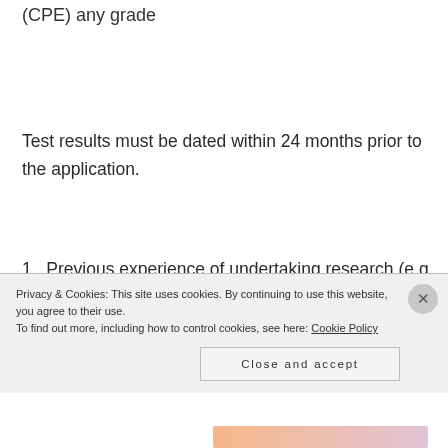(CPE) any grade
Test results must be dated within 24 months prior to the application.
1. Previous experience of undertaking research (e.g. undergraduate or taught master’s dissertation).
Privacy & Cookies: This site uses cookies. By continuing to use this website, you agree to their use. To find out more, including how to control cookies, see here: Cookie Policy
Close and accept